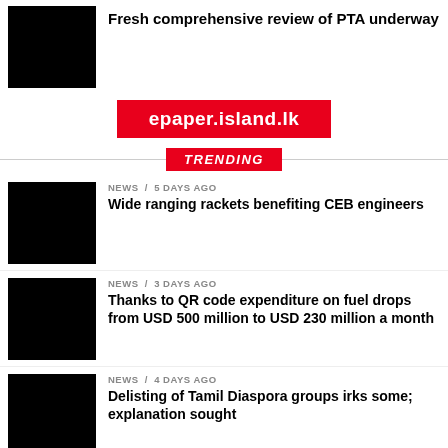Fresh comprehensive review of PTA underway
[Figure (photo): Black thumbnail image top left]
epaper.island.lk
TRENDING
NEWS / 5 days ago
Wide ranging rackets benefiting CEB engineers
[Figure (photo): Black thumbnail image]
NEWS / 3 days ago
Thanks to QR code expenditure on fuel drops from USD 500 million to USD 230 million a month
[Figure (photo): Black thumbnail image]
NEWS / 4 days ago
Delisting of Tamil Diaspora groups irks some; explanation sought
[Figure (photo): Black thumbnail image]
NEWS / 2 days ago
SIB alleges Prez under SLPP pressure to